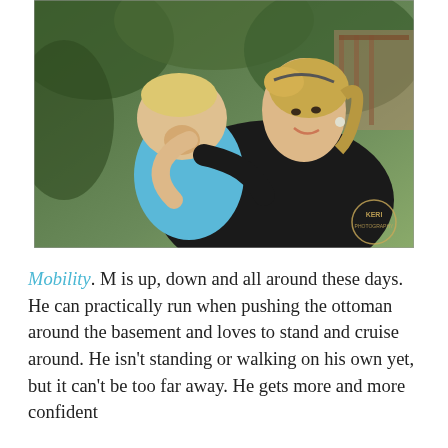[Figure (photo): A smiling blonde woman holding a baby in a light blue polo shirt outdoors with greenery in the background. A watermark reading 'KERI' is visible in the bottom right corner of the photo.]
Mobility. M is up, down and all around these days. He can practically run when pushing the ottoman around the basement and loves to stand and cruise around. He isn't standing or walking on his own yet, but it can't be too far away. He gets more and more confident